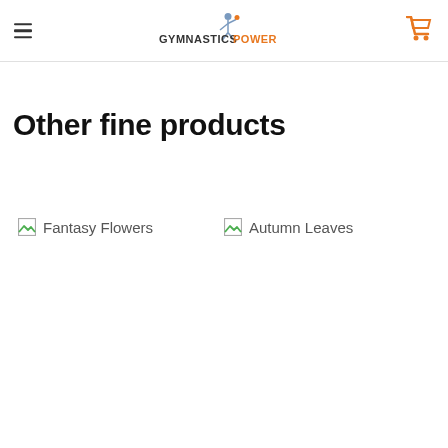GYMNASTICS POWER
Other fine products
[Figure (other): Broken image placeholder for Fantasy Flowers product]
Fantasy Flowers
[Figure (other): Broken image placeholder for Autumn Leaves product]
Autumn Leaves